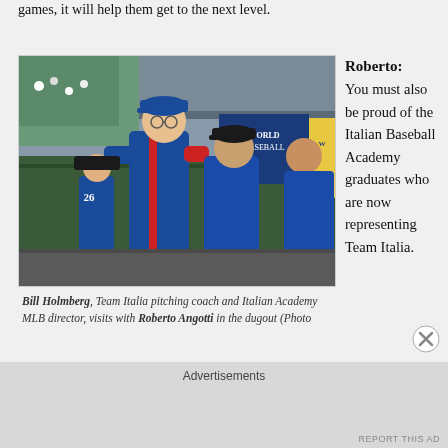games, it will help them get to the next level.
[Figure (photo): Bill Holmberg, Team Italia pitching coach and Italian Academy MLB director, visits with Roberto Angotti in the dugout during what appears to be a World Baseball Classic game. Players in blue Italy uniforms are visible in the background.]
Bill Holmberg, Team Italia pitching coach and Italian Academy MLB director, visits with Roberto Angotti in the dugout (Photo
Roberto: You must also be proud of the Italian Baseball Academy graduates who are now representing Team Italia.
Advertisements
REPORT THIS AD